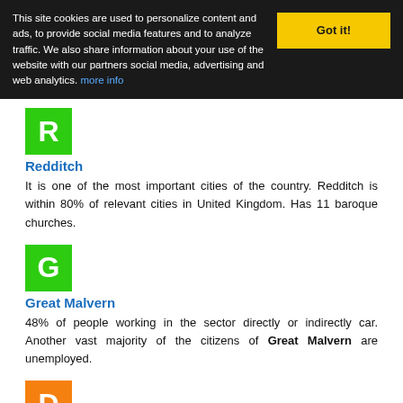This site cookies are used to personalize content and ads, to provide social media features and to analyze traffic. We also share information about your use of the website with our partners social media, advertising and web analytics. more info
Redditch
It is one of the most important cities of the country. Redditch is within 80% of relevant cities in United Kingdom. Has 11 baroque churches.
Great Malvern
48% of people working in the sector directly or indirectly car. Another vast majority of the citizens of Great Malvern are unemployed.
Droitwich
Droitwich city has 3 tourist attractions and its citizens